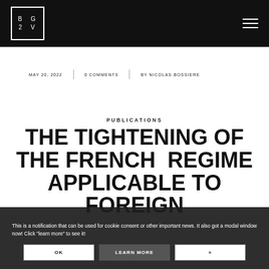BG 2V
MAY 20, 2022   0 COMMENTS   BY NICOLAS BOSSIERE
PUBLICATIONS
THE TIGHTENING OF THE FRENCH REGIME APPLICABLE TO FOREIGN INVESTMENT
This is a notification that can be used for cookie consent or other important news. It also got a modal window now! Click "learn more" to see it!